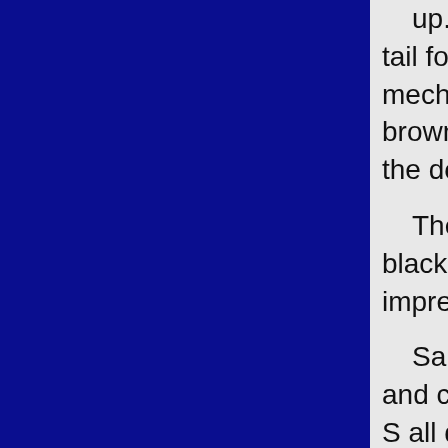up. Three joints have springs and th you to push the tail forward - doing forward (thanks to the springs). Add mechanisms in the claws. The left m claw shoots two brown missiles whe easily fire across the room while the down by the fact it springs open.
The bee is a small drone-like thing the abdomen, black painted eyes, s claw as wings. It's quite impressive a single gimmick of a larger toy, and claw.
Sandstorm's scorpion mode is pre keep me happy and colours that wo they're not as realistic as those of S all quite cool, and while I don't expe mode, the gimmicks easily make up missile launcher is fun and the sting
TRANSFORMATION
Hard to describe since stuff moves parts, but the beast head splits to be